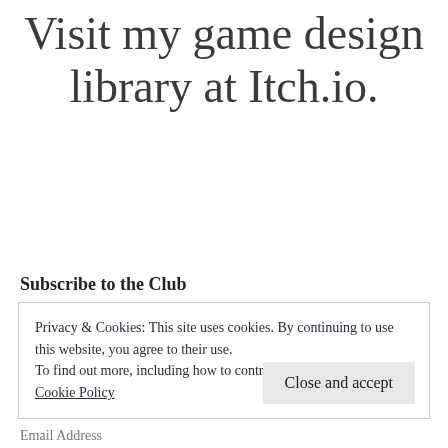Visit my game design library at Itch.io.
Subscribe to the Club
Privacy & Cookies: This site uses cookies. By continuing to use this website, you agree to their use.
To find out more, including how to control cookies, see here:
Cookie Policy
Close and accept
Email Address